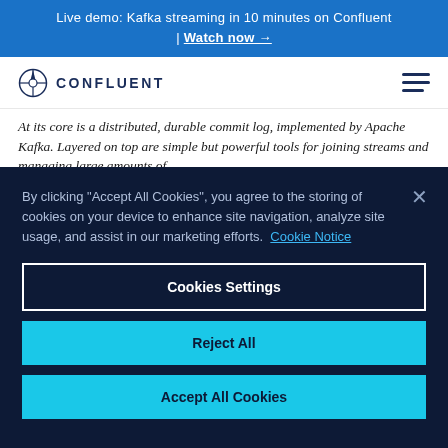Live demo: Kafka streaming in 10 minutes on Confluent | Watch now →
[Figure (logo): Confluent logo with compass icon and text CONFLUENT, plus hamburger menu icon]
At its core is a distributed, durable commit log, implemented by Apache Kafka. Layered on top are simple but powerful tools for joining streams and managing large amounts of
By clicking "Accept All Cookies", you agree to the storing of cookies on your device to enhance site navigation, analyze site usage, and assist in our marketing efforts. Cookie Notice
Cookies Settings
Reject All
Accept All Cookies